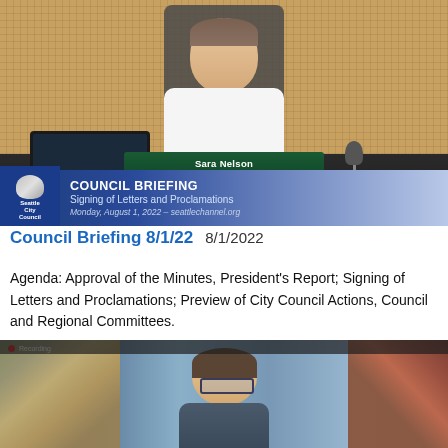[Figure (screenshot): Video screenshot of Sara Nelson, Seattle City Council At Large Position 9, seated at council chamber desk with name placard visible, lower-third overlay reads 'COUNCIL BRIEFING - Signing of Letters and Proclamations - Monday, August 1, 2022 - seattlechannel.org']
Council Briefing 8/1/22  8/1/2022
Agenda: Approval of the Minutes, President's Report; Signing of Letters and Proclamations; Preview of City Council Actions, Council and Regional Committees.
[Figure (screenshot): Video screenshot of a person with glasses in a Zoom meeting, with Native American/Pacific Northwest artwork murals visible in the background]